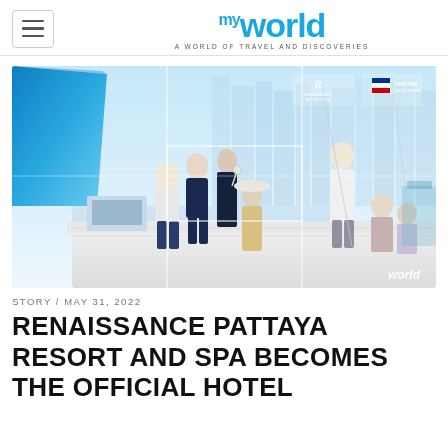myworld — A WORLD OF TRAVEL AND DISCOVERIES
[Figure (photo): Group of young people socializing on a yacht deck at a marina, with tall buildings in the background. Renaissance and Thailand Yacht Show logos visible in top right corner. 'world' watermark at bottom right.]
STORY / May 31, 2022
RENAISSANCE PATTAYA RESORT AND SPA BECOMES THE OFFICIAL HOTEL